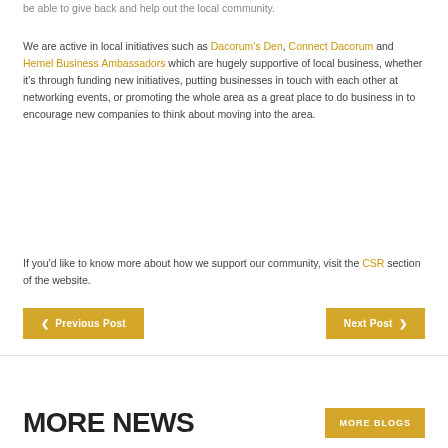be able to give back and help out the local community.
We are active in local initiatives such as Dacorum's Den, Connect Dacorum and Hemel Business Ambassadors which are hugely supportive of local business, whether it's through funding new initiatives, putting businesses in touch with each other at networking events, or promoting the whole area as a great place to do business in to encourage new companies to think about moving into the area.
If you'd like to know more about how we support our community, visit the CSR section of the website.
Previous Post
Next Post
MORE NEWS
MORE BLOGS